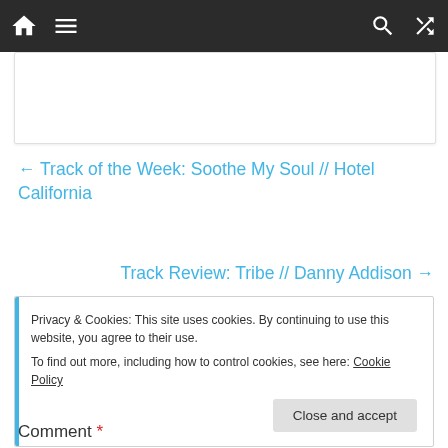Navigation bar with home icon, menu icon, search icon, shuffle icon
← Track of the Week: Soothe My Soul // Hotel California
Track Review: Tribe // Danny Addison →
Privacy & Cookies: This site uses cookies. By continuing to use this website, you agree to their use.
To find out more, including how to control cookies, see here: Cookie Policy
Close and accept
Comment *